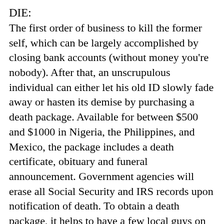DIE:
The first order of business to kill the former self, which can be largely accomplished by closing bank accounts (without money you're nobody). After that, an unscrupulous individual can either let his old ID slowly fade away or hasten its demise by purchasing a death package. Available for between $500 and $1000 in Nigeria, the Philippines, and Mexico, the package includes a death certificate, obituary and funeral announcement. Government agencies will erase all Social Security and IRS records upon notification of death. To obtain a death package, it helps to have a few local guys on your side-- a lawyer or cop known for his love of money should do the trick.
GO TO THE GRAVEYRAD:
After "dying" it's time to get a new identity. The newly deceased needs to pursue headstones to find someone who died before he was 16 (no drivers liscense no social). Armed with deceased's name and DOB, he then applies for a copy of the dead guys'
birth certificate with the state's Dept. of Vital Statistics-- most apathetic government employees will give it out